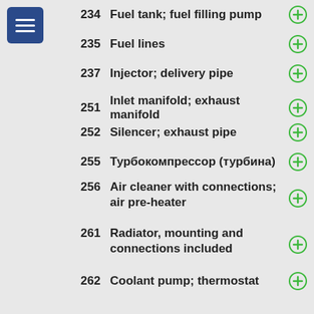234  Fuel tank; fuel filling pump
235  Fuel lines
237  Injector; delivery pipe
251  Inlet manifold; exhaust manifold
252  Silencer; exhaust pipe
255  Турбокомпрессор (турбина)
256  Air cleaner with connections; air pre-heater
261  Radiator, mounting and connections included
262  Coolant pump; thermostat
263  Fan; fan shroud; fan coupling
269  Miscelaneous